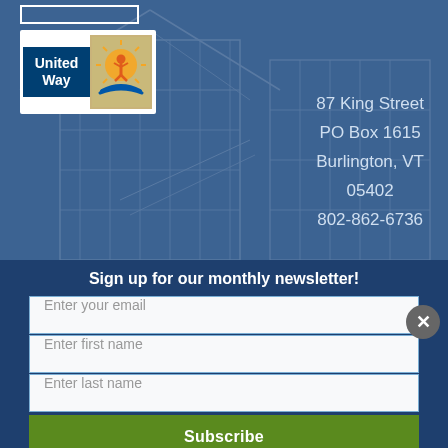[Figure (logo): United Way logo with blue text panel and sun/hands icon on gold background]
87 King Street
PO Box 1615
Burlington, VT
05402
802-862-6736
Sign up for our monthly newsletter!
Enter your email
Enter first name
Enter last name
Subscribe